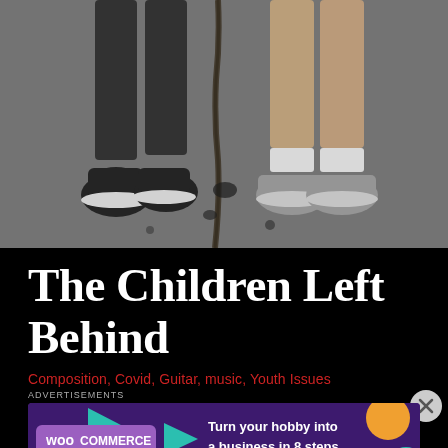[Figure (photo): Close-up photo of two children's feet standing on cracked asphalt pavement. One child wears dark slip-on shoes with black pants, the other wears grey sneakers with white socks and khaki pants.]
The Children Left Behind
Composition, Covid, Guitar, music, Youth Issues
[Figure (other): WooCommerce advertisement banner: purple/dark background with teal and orange triangle shapes, WooCommerce logo, text: Turn your hobby into a business in 8 steps]